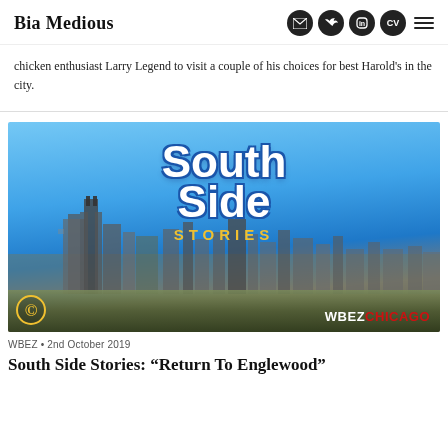Bia Medious
chicken enthusiast Larry Legend to visit a couple of his choices for best Harold's in the city.
[Figure (illustration): South Side Stories promotional image showing Chicago skyline with blue sky. White bold text reads 'South Side' with 'STORIES' in yellow below it. WBEZ Chicago logo in bottom right, Comedy Central logo in bottom left.]
WBEZ • 2nd October 2019
South Side Stories: "Return To Englewood"